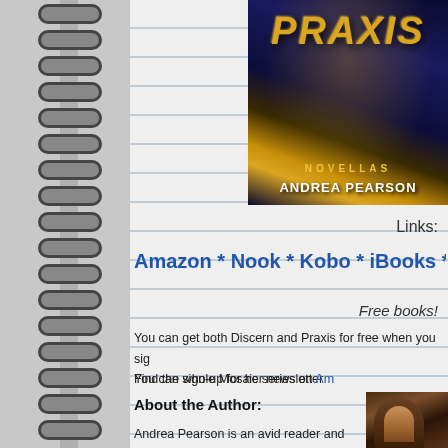[Figure (illustration): Spiral notebook binding on left side of page with black and white coils against grey background]
[Figure (photo): Book cover for Praxis Novellas by Andrea Pearson, showing a fantasy-style cover with gold and dark blue tones, with 'NOVELLAS' and 'ANDREA PEARSON' text]
Links:
Amazon * Nook * Kobo * iBooks *
Free books!
You can get both Discern and Praxis for free when you sig You can sign-up for her newsletter
Find the whole Mosaic series on Am
About the Author:
Andrea Pearson is an avid reader and outdoor enthusiast who plays several instruments, not